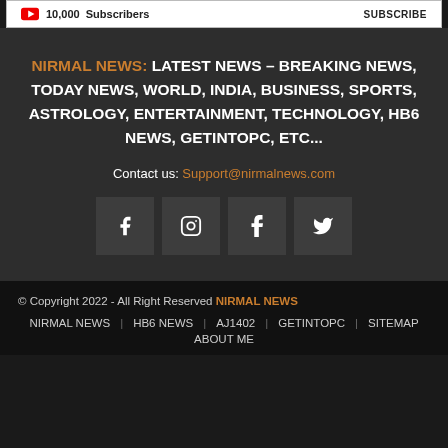10,000 Subscribers  SUBSCRIBE
NIRMAL NEWS: LATEST NEWS – BREAKING NEWS, TODAY NEWS, WORLD, INDIA, BUSINESS, SPORTS, ASTROLOGY, ENTERTAINMENT, TECHNOLOGY, HB6 NEWS, GETINTOPC, ETC...
Contact us: Support@nirmalnews.com
[Figure (other): Social media icons: Facebook, Instagram, Tumblr, Twitter]
© Copyright 2022 - All Right Reserved NIRMAL NEWS
NIRMAL NEWS  HB6 NEWS  AJ1402  GETINTOPC  SITEMAP
ABOUT ME